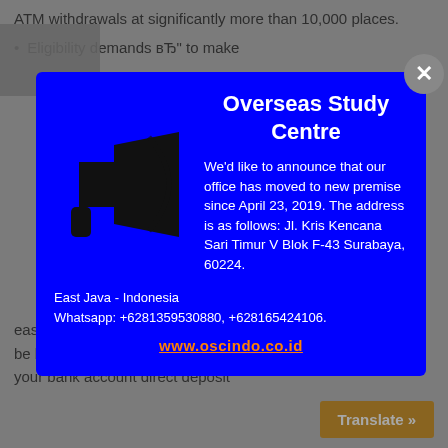ATM withdrawals at significantly more than 10,000 places.
Eligibility demands вЂ" to make
[Figure (infographic): Blue modal popup for Overseas Study Centre with megaphone/loudspeaker icon. Contains announcement about office move to Jl. Kris Kencana Sari Timur V Blok F-43 Surabaya, 60224, East Java - Indonesia, with Whatsapp numbers and website www.oscindo.co.id]
easily ask for an advance loan will be based upon a couple of things: your bank account direct deposit
Translate »